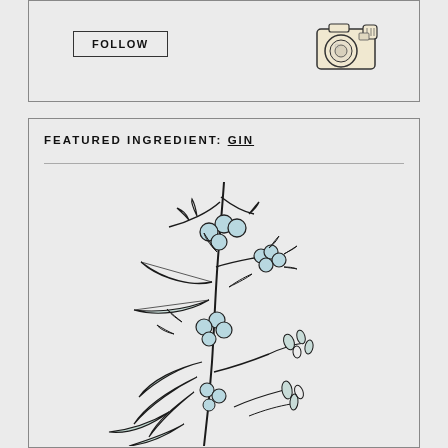[Figure (illustration): Illustration of a vintage camera in the top-right corner of the top box]
FOLLOW
FEATURED INGREDIENT: GIN
[Figure (illustration): Botanical illustration of a juniper plant with light blue berries and various botanicals, hand-drawn style with teal/blue color accents]